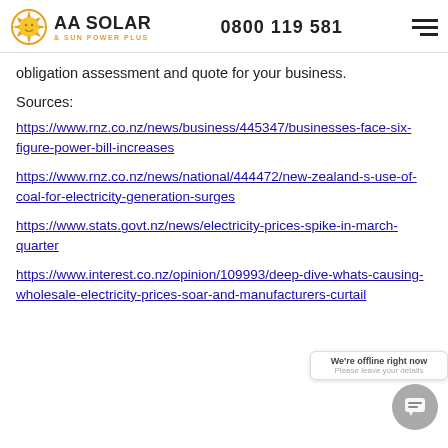AA SOLAR & SUN POWER PLUS | 0800 119 581
obligation assessment and quote for your business.
Sources:
https://www.rnz.co.nz/news/business/445347/businesses-face-six-figure-power-bill-increases
https://www.rnz.co.nz/news/national/444472/new-zealand-s-use-of-coal-for-electricity-generation-surges
https://www.stats.govt.nz/news/electricity-prices-spike-in-march-quarter
https://www.interest.co.nz/opinion/109993/deep-dive-whats-causing-wholesale-electricity-prices-soar-and-manufacturers-curtail